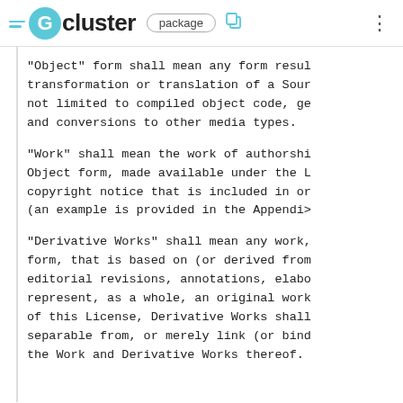Gcluster package
"Object" form shall mean any form resul transformation or translation of a Sour not limited to compiled object code, ge and conversions to other media types.
"Work" shall mean the work of authorshi Object form, made available under the L copyright notice that is included in or (an example is provided in the Appendi>
"Derivative Works" shall mean any work, form, that is based on (or derived from editorial revisions, annotations, elabo represent, as a whole, an original work of this License, Derivative Works shall separable from, or merely link (or bind the Work and Derivative Works thereof.